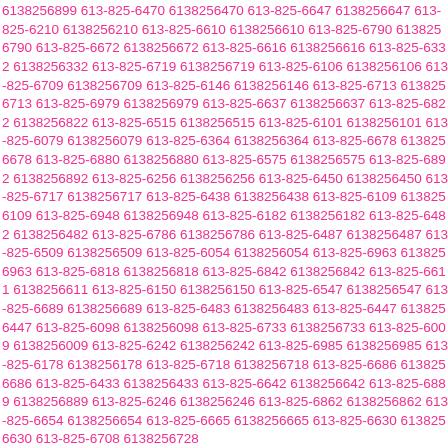6138256899 613-825-6470 6138256470 613-825-6647 6138256647 613-825-6210 6138256210 613-825-6610 6138256610 613-825-6790 6138256790 613-825-6672 6138256672 613-825-6616 6138256616 613-825-6332 6138256332 613-825-6719 6138256719 613-825-6106 6138256106 613-825-6709 6138256709 613-825-6146 6138256146 613-825-6713 6138256713 613-825-6979 6138256979 613-825-6637 6138256637 613-825-6822 6138256822 613-825-6515 6138256515 613-825-6101 6138256101 613-825-6079 6138256079 613-825-6364 6138256364 613-825-6678 6138256678 613-825-6880 6138256880 613-825-6575 6138256575 613-825-6892 6138256892 613-825-6256 6138256256 613-825-6450 6138256450 613-825-6717 6138256717 613-825-6438 6138256438 613-825-6109 6138256109 613-825-6948 6138256948 613-825-6182 6138256182 613-825-6482 6138256482 613-825-6786 6138256786 613-825-6487 6138256487 613-825-6509 6138256509 613-825-6054 6138256054 613-825-6963 6138256963 613-825-6818 6138256818 613-825-6842 6138256842 613-825-6611 6138256611 613-825-6150 6138256150 613-825-6547 6138256547 613-825-6689 6138256689 613-825-6483 6138256483 613-825-6447 6138256447 613-825-6098 6138256098 613-825-6733 6138256733 613-825-6009 6138256009 613-825-6242 6138256242 613-825-6985 6138256985 613-825-6178 6138256178 613-825-6718 6138256718 613-825-6686 6138256686 613-825-6433 6138256433 613-825-6642 6138256642 613-825-6889 6138256889 613-825-6246 6138256246 613-825-6862 6138256862 613-825-6654 6138256654 613-825-6665 6138256665 613-825-6630 6138256630 613-825-6708 6138256728